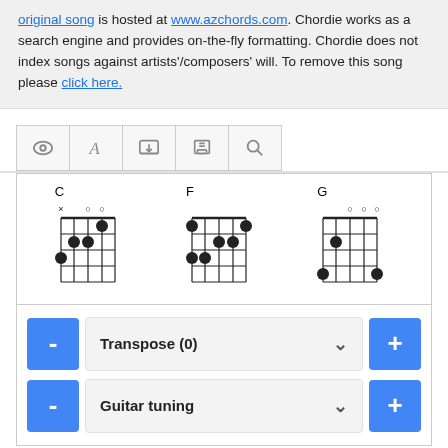original song is hosted at www.azchords.com. Chordie works as a search engine and provides on-the-fly formatting. Chordie does not index songs against artists'/composers' will. To remove this song please click here.
[Figure (schematic): Toolbar with icons: eye, letter A, download screen, print, magnifying glass search]
[Figure (other): Guitar chord diagrams for C, F, and G chords shown as fretboard grids with finger positions marked by filled circles and open/muted strings marked by circles and x]
[Figure (other): Transpose (0) dropdown control with minus and plus blue buttons, and Guitar tuning dropdown control with minus and plus blue buttons]
[Figure (other): Star rating widget showing 2.5 out of 5 stars (3 filled, 2 empty) and text: Rate #2 of 2 versions]